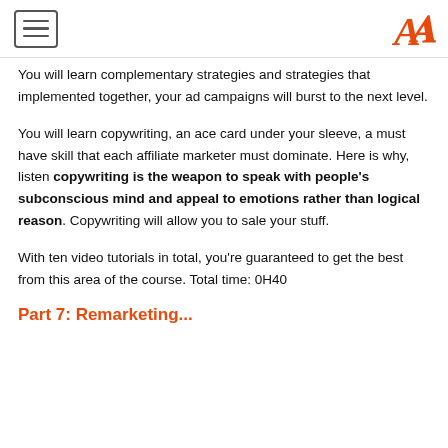[hamburger menu] [A logo]
You will learn complementary strategies and strategies that implemented together, your ad campaigns will burst to the next level.
You will learn copywriting, an ace card under your sleeve, a must have skill that each affiliate marketer must dominate. Here is why, listen copywriting is the weapon to speak with people’s subconscious mind and appeal to emotions rather than logical reason. Copywriting will allow you to sale your stuff.
With ten video tutorials in total, you’re guaranteed to get the best from this area of the course. Total time: 0H40
Part 7: Remarketing...